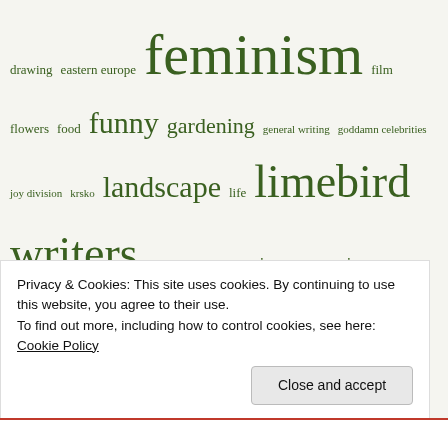drawing eastern europe feminism film flowers food funny gardening general writing goddamn celebrities joy division krsko landscape life limebird writers lyrical abstraction misogyny movies Music my life mysteries oppression painting personal photography politics punk purple quotes random notes reality relationships Richard Jobson sad scotland sfmoma slovenia snow social justice social media space spam stop snowing already sundays with clyfford still travel travel writing trees twitter uk ukraine video winter women womenartists women artists writing
Privacy & Cookies: This site uses cookies. By continuing to use this website, you agree to their use.
To find out more, including how to control cookies, see here: Cookie Policy